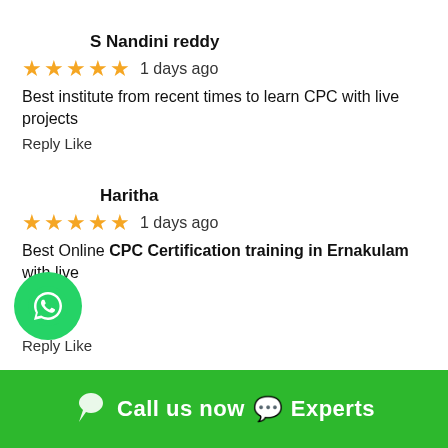S Nandini reddy
★★★★★ 1 days ago
Best institute from recent times to learn CPC with live projects
Reply Like
Haritha
★★★★★ 1 days ago
Best Online CPC Certification training in Ernakulam with live
Reply Like
[Figure (logo): WhatsApp circular green button with white phone/chat icon]
Call us now 💬 Experts